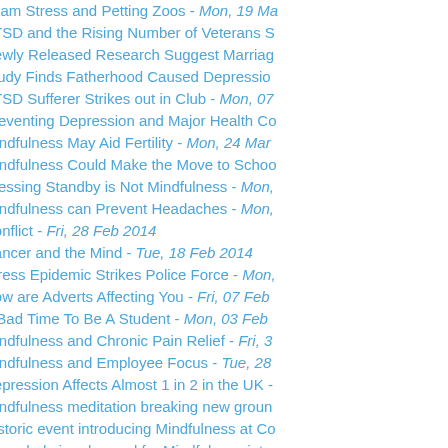Exam Stress and Petting Zoos - Mon, 19 Ma…
PTSD and the Rising Number of Veterans S…
Newly Released Research Suggest Marriag…
Study Finds Fatherhood Caused Depressio…
PTSD Sufferer Strikes out in Club - Mon, 07…
Preventing Depression and Major Health Co…
Mindfulness May Aid Fertility - Mon, 24 Mar…
Mindfulness Could Make the Move to Schoo…
Pressing Standby is Not Mindfulness - Mon,…
Mindfulness can Prevent Headaches - Mon,…
Conflict - Fri, 28 Feb 2014
Cancer and the Mind - Tue, 18 Feb 2014
Stress Epidemic Strikes Police Force - Mon,…
How are Adverts Affecting You - Fri, 07 Feb…
A Bad Time To Be A Student - Mon, 03 Feb…
Mindfulness and Chronic Pain Relief - Fri, 3…
Mindfulness and Employee Focus - Tue, 28…
Depression Affects Almost 1 in 2 in the UK -…
Mindfulness meditation breaking new groun…
Historic event introducing Mindfulness at Co…
Overwhelming demand for Mindfulness inter…
Meditation reduces risk of heart disease ano…
You are NOT your thoughts - Fri, 14 May 20…
Behavioural placement and Mind control in m…
Love, an opportunity to explore abundance -…
The Secret… - (date cut off)